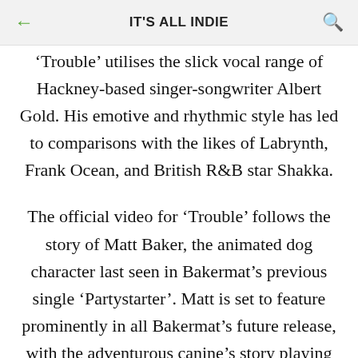IT'S ALL INDIE
'Trouble' utilises the slick vocal range of Hackney-based singer-songwriter Albert Gold. His emotive and rhythmic style has led to comparisons with the likes of Labrynth, Frank Ocean, and British R&B star Shakka.
The official video for ‘Trouble’ follows the story of Matt Baker, the animated dog character last seen in Bakermat’s previous single ‘Partystarter’. Matt is set to feature prominently in all Bakermat’s future release, with the adventurous canine’s story playing out across a flurry of the Dutch producer’s hits.